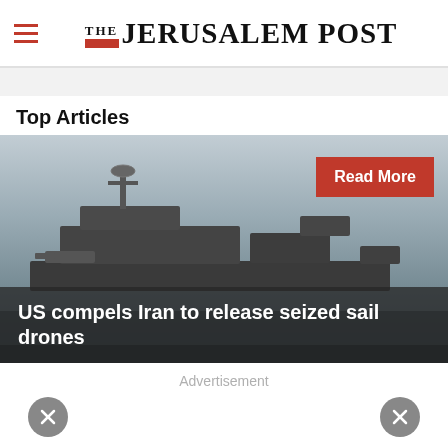THE JERUSALEM POST
Top Articles
[Figure (photo): Naval warship photographed in a harbor with hazy/foggy sky background. A red 'Read More' button appears in the top right of the image. Overlaid at the bottom is the article headline 'US compels Iran to release seized sail drones' in white bold text on a dark semi-transparent background.]
Advertisement
× ×